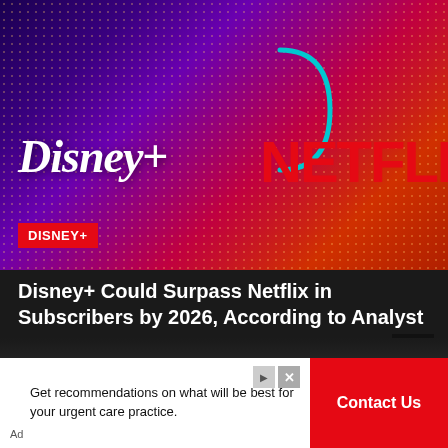[Figure (photo): Hero image showing Disney+ and Netflix logos side by side on a colorful dotted background with purple, blue, and red/orange gradient. A teal arc is visible. A red 'DISNEY+' label tag is in the lower left of the image.]
Disney+ Could Surpass Netflix in Subscribers by 2026, According to Analyst
February 15, 2021  Skyler Shuler
Disney+ may be exceeding all their expectations with their subscriber counts, but it should...
Get recommendations on what will be best for your urgent care practice.
Contact Us
Ad